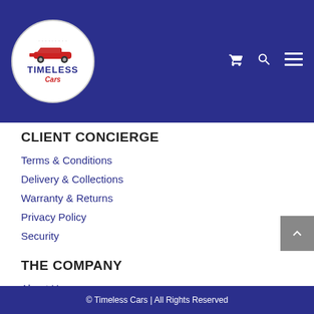[Figure (logo): Timeless Cars circular logo with red classic car illustration, white circle with dark blue border, text TIMELESS CARS]
CLIENT CONCIERGE
Terms & Conditions
Delivery & Collections
Warranty & Returns
Privacy Policy
Security
THE COMPANY
About Us
Contact Model Cars
Contact Classic Cars
© Timeless Cars | All Rights Reserved